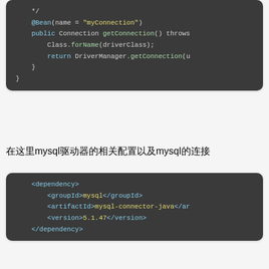[Figure (screenshot): Code block showing Java Spring @Bean method with getConnection() returning DriverManager.getConnection(u]
在这里mysql驱动器的相关配置以及mysql的连接
[Figure (screenshot): XML Maven dependency block for mysql-connector-java version 5.1.47]